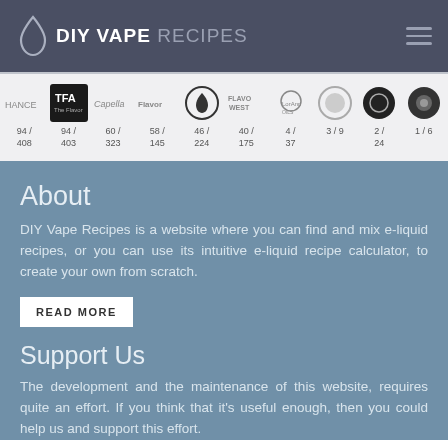DIY VAPE RECIPES
[Figure (logo): Brand logos strip with numerical counts: 94/408, 94/403 (TFA), 60/323 (Capella), 58/145 (Flavor West), 46/224, 40/175 (Flavour West), 4/37 (LorAnn Oils), 3/9, 2/24, 1/6]
About
DIY Vape Recipes is a website where you can find and mix e-liquid recipes, or you can use its intuitive e-liquid recipe calculator, to create your own from scratch.
READ MORE
Support Us
The development and the maintenance of this website, requires quite an effort. If you think that it's useful enough, then you could help us and support this effort.